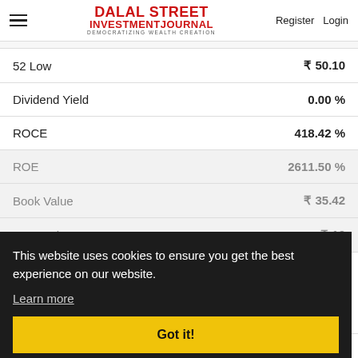Dalal Street Investment Journal — DEMOCRATIZING WEALTH CREATION | Register  Login
| Metric | Value |
| --- | --- |
| 52 Low | ₹ 50.10 |
| Dividend Yield | 0.00 % |
| ROCE | 418.42 % |
| ROE | 2611.50 % |
| Book Value | ₹ 35.42 |
| Face Value | ₹ 10 |
This website uses cookies to ensure you get the best experience on our website.
Learn more
Got it!
Result-O-Meter(Jun-2022)
Eastcoast Steel Ltd